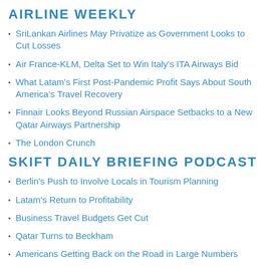AIRLINE WEEKLY
SriLankan Airlines May Privatize as Government Looks to Cut Losses
Air France-KLM, Delta Set to Win Italy's ITA Airways Bid
What Latam's First Post-Pandemic Profit Says About South America's Travel Recovery
Finnair Looks Beyond Russian Airspace Setbacks to a New Qatar Airways Partnership
The London Crunch
SKIFT DAILY BRIEFING PODCAST
Berlin's Push to Involve Locals in Tourism Planning
Latam's Return to Profitability
Business Travel Budgets Get Cut
Qatar Turns to Beckham
Americans Getting Back on the Road in Large Numbers